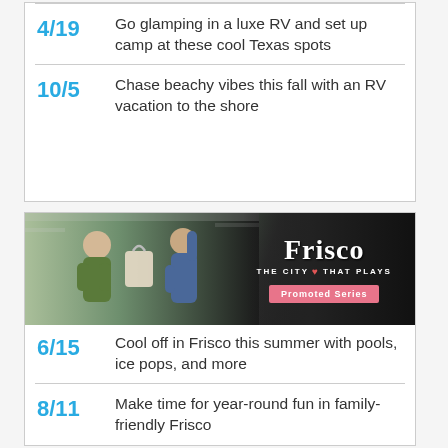4/19 — Go glamping in a luxe RV and set up camp at these cool Texas spots
10/5 — Chase beachy vibes this fall with an RV vacation to the shore
[Figure (photo): Frisco city promotional banner with two women at a store counter, white text reading 'Frisco THE CITY THAT PLAYS' and a pink 'Promoted Series' badge on a dark background.]
6/15 — Cool off in Frisco this summer with pools, ice pops, and more
8/11 — Make time for year-round fun in family-friendly Frisco